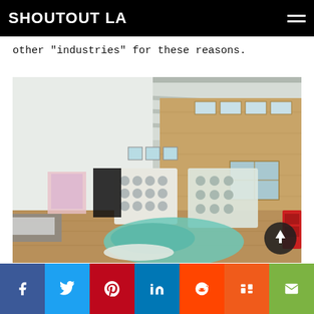SHOUTOUT LA
other "industries" for these reasons.
[Figure (photo): Interior of a large art studio or workshop with high ceilings, fluorescent lighting, wood floors, and plywood walls. Large sculptural pieces are visible on the floor including teal/white organic-shaped furniture and Connect Four-style frames with circular holes. Art supplies and materials are scattered throughout.]
Facebook share button
Twitter share button
Pinterest share button
LinkedIn share button
Reddit share button
Mix share button
Email share button